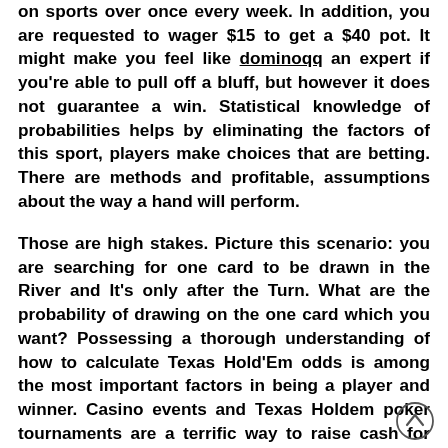on sports over once every week. In addition, you are requested to wager $15 to get a $40 pot. It might make you feel like dominoqq an expert if you're able to pull off a bluff, but however it does not guarantee a win. Statistical knowledge of probabilities helps by eliminating the factors of this sport, players make choices that are betting. There are methods and profitable, assumptions about the way a hand will perform.
Those are high stakes. Picture this scenario: you are searching for one card to be drawn in the River and It's only after the Turn. What are the probability of drawing on the one card which you want? Possessing a thorough understanding of how to calculate Texas Hold'Em odds is among the most important factors in being a player and winner. Casino events and Texas Holdem poker tournaments are a terrific way to raise cash for much more and charities.